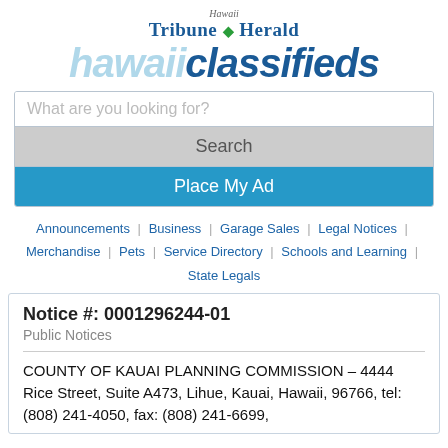[Figure (logo): Hawaii Tribune-Herald hawaii classifieds logo with green diamond and blue/light-blue text]
What are you looking for?
Search
Place My Ad
Announcements | Business | Garage Sales | Legal Notices | Merchandise | Pets | Service Directory | Schools and Learning | State Legals
Notice #: 0001296244-01
Public Notices
COUNTY OF KAUAI PLANNING COMMISSION – 4444 Rice Street, Suite A473, Lihue, Kauai, Hawaii, 96766, tel: (808) 241-4050, fax: (808) 241-6699,